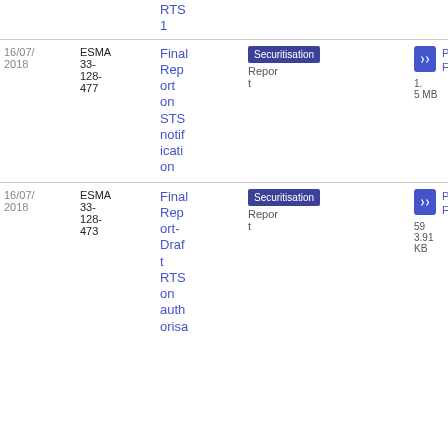RTS 1
| Date | Reference | Title | Tag | Type | Download |
| --- | --- | --- | --- | --- | --- |
| 16/07/2018 | ESMA 33-128-477 | Final Report on STS notification | Securitisation | Report | PDF 1.5 MB |
| 16/07/2018 | ESMA 33-128-473 | Final Report-Draft RTS on authorisa | Securitisation | Report | PDF 5983.91 KB |